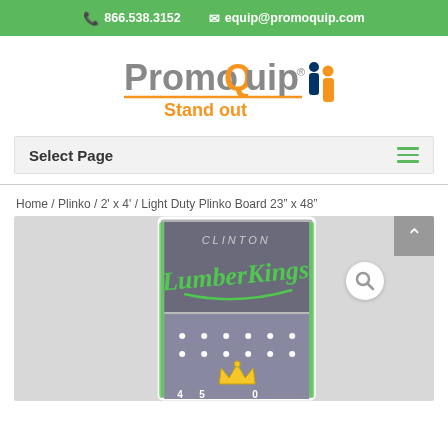866.538.3152  equip@promoquip.com
[Figure (logo): PromoQuip logo with 'Stand out' tagline and people icon]
Select Page
Home / Plinko / 2' x 4' / Light Duty Plinko Board 23" x 48"
[Figure (photo): Light Duty Plinko Board 23" x 48" with Clinton LumberKings branding]